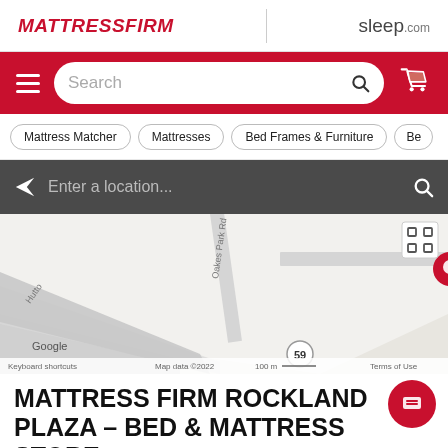[Figure (logo): MattressFIRM logo in red italic bold text]
[Figure (logo): sleep.com logo in gray text]
[Figure (screenshot): Red navigation bar with hamburger menu, search box, and cart icon]
Mattress Matcher
Mattresses
Bed Frames & Furniture
Be...
[Figure (map): Google Maps showing location pin near Hutto area with roads including Oakes Park Rd, route 59. Map data ©2022, 100m scale. Keyboard shortcuts, Terms of Use visible.]
MATTRESS FIRM ROCKLAND PLAZA – BED & MATTRESS STORE